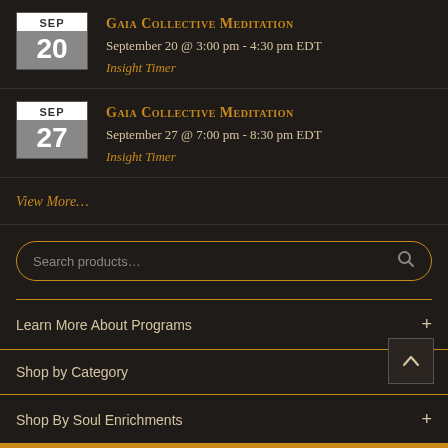GAIA COLLECTIVE MEDITATION
September 20 @ 3:00 pm - 4:30 pm EDT
Insight Timer
GAIA COLLECTIVE MEDITATION
September 27 @ 7:00 pm - 8:30 pm EDT
Insight Timer
View More…
Search products…
Learn More About Programs
Shop by Category
Shop By Soul Enrichments